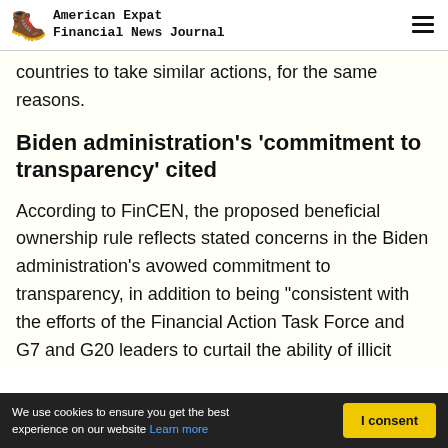American Expat Financial News Journal
countries to take similar actions, for the same reasons.
Biden administration's 'commitment to transparency' cited
According to FinCEN, the proposed beneficial ownership rule reflects stated concerns in the Biden administration's avowed commitment to transparency, in addition to being "consistent with the efforts of the Financial Action Task Force and G7 and G20 leaders to curtail the ability of illicit
We use cookies to ensure you get the best experience on our website Learn more